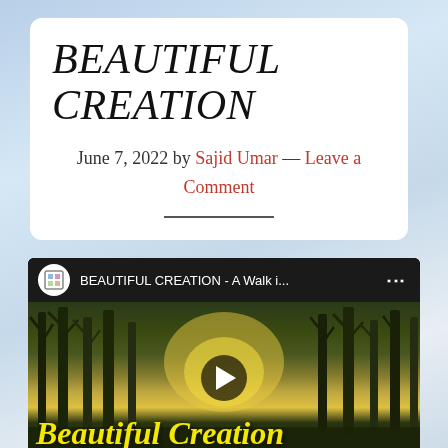BEAUTIFUL CREATION
June 7, 2022 by Sajid Umar — Leave a Comment
[Figure (screenshot): YouTube video embed showing 'BEAUTIFUL CREATION - A Walk i...' with channel icon, video title bar, and thumbnail of trees with yellow cursive text 'Beautiful Creation' overlaid and a play button]